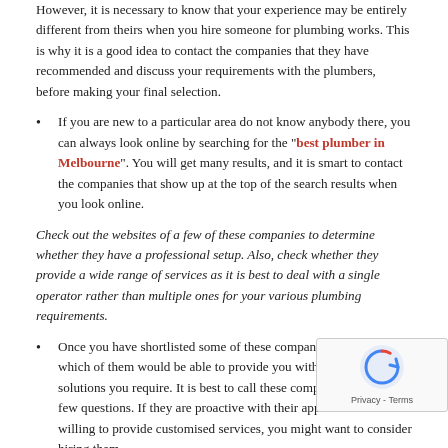However, it is necessary to know that your experience may be entirely different from theirs when you hire someone for plumbing works. This is why it is a good idea to contact the companies that they have recommended and discuss your requirements with the plumbers, before making your final selection.
If you are new to a particular area do not know anybody there, you can always look online by searching for the "best plumber in Melbourne". You will get many results, and it is smart to contact the companies that show up at the top of the search results when you look online.
Check out the websites of a few of these companies to determine whether they have a professional setup. Also, check whether they provide a wide range of services as it is best to deal with a single operator rather than multiple ones for your various plumbing requirements.
Once you have shortlisted some of these companies, determine which of them would be able to provide you with the kind of solutions you require. It is best to call these companies and ask a few questions. If they are proactive with their approach and willing to provide customised services, you might want to consider hiring them.
It is also necessary that the plumbers you hire, provide 24/7 emergency plumbing solutions. This is a critical aspect because you can never predict when you would be saddled with a problem at an odd hour and would need the services of professionals.
Comp Services and Cost
Once you have a determined which company is best suited to your needs and ask them for quotations for a specific job. Find out how they compare based on price, experience, lic... more. Following these steps will help you find a company that provides you with reliab... services in Melbourne.
For information about our professional plumbing services, feel free to contact Dr Drain Fast...